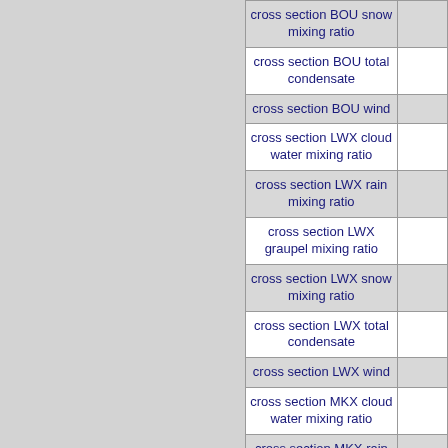| Description |  |
| --- | --- |
| cross section BOU snow mixing ratio |  |
| cross section BOU total condensate |  |
| cross section BOU wind |  |
| cross section LWX cloud water mixing ratio |  |
| cross section LWX rain mixing ratio |  |
| cross section LWX graupel mixing ratio |  |
| cross section LWX snow mixing ratio |  |
| cross section LWX total condensate |  |
| cross section LWX wind |  |
| cross section MKX cloud water mixing ratio |  |
| cross section MKX rain mixing ratio |  |
| cross section MKX graupel |  |